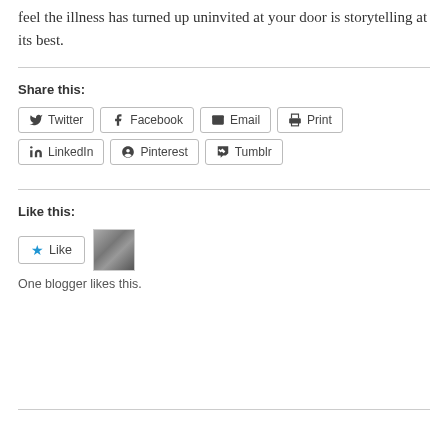feel the illness has turned up uninvited at your door is storytelling at its best.
Share this:
Twitter Facebook Email Print LinkedIn Pinterest Tumblr
Like this:
Like
One blogger likes this.